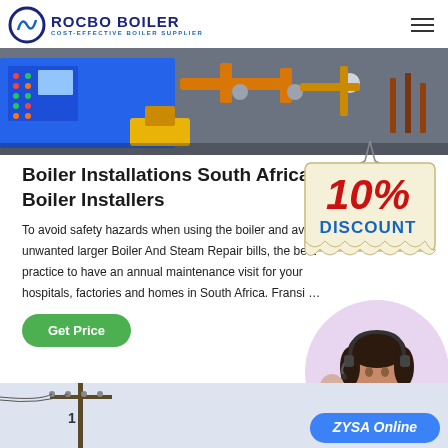ROCBO BOILER — COST-EFFECTIVE BOILER SUPPLIER
[Figure (photo): Industrial boiler equipment with blue machinery, control panel with colored indicators, and yellow pipes with valves]
Boiler Installations South Africa | Boiler Installers
[Figure (infographic): 10% DISCOUNT hanging sign badge overlaid on the content area]
To avoid safety hazards when using the boiler and avoiding unwanted larger Boiler And Steam Repair bills, the best practice to have an annual maintenance visit for your hospitals, factories and homes in South Africa. Fransi …
[Figure (photo): Customer service representative smiling with headset on, with another person in background]
[Figure (photo): Bottom section showing an electrical pole/pylon on the left and a blue ZYSA Online badge on the bottom right]